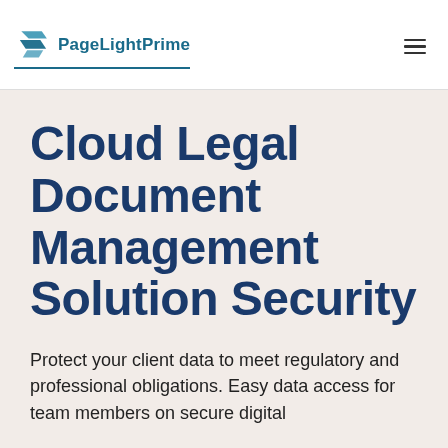PageLightPrime
Cloud Legal Document Management Solution Security
Protect your client data to meet regulatory and professional obligations. Easy data access for team members on secure digital